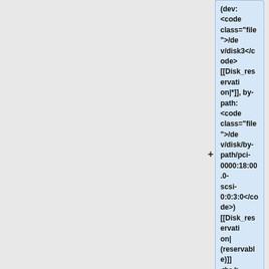(dev: <code class="file">/dev/disk3</code> [[Disk_reservation|*]], by-path: <code class="file">/dev/disk/by-path/pci-0000:18:00.0-scsi-0:0:3:0</code>) [[Disk_reservation|(reservable)]] <br />
* disk4, 4.0&nbsp;TB HDD SAS Seagate ST4000NM0295 (dev: <code